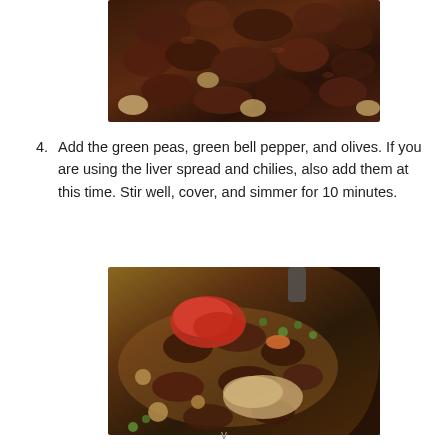[Figure (photo): Close-up photo of braised meat pieces (beef) with potatoes in a dark sauce, top-down view.]
4. Add the green peas, green bell pepper, and olives. If you are using the liver spread and chilies, also add them at this time. Stir well, cover, and simmer for 10 minutes.
[Figure (photo): Photo of a pan with braised meat, green peas, potatoes, carrots, chilies, and spices being cooked together from above.]
v